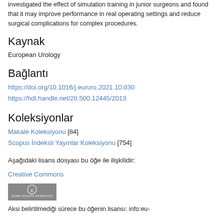investigated the effect of simulation training in junior surgeons and found that it may improve performance in real operating settings and reduce surgical complications for complex procedures.
Kaynak
European Urology
Bağlantı
https://doi.org/10.1016/j.eururo.2021.10.030
https://hdl.handle.net/20.500.12445/2013
Koleksiyonlar
Makale Koleksiyonu [84]
Scopus İndeksli Yayınlar Koleksiyonu [754]
Aşağıdaki lisans dosyası bu öğe ile ilişkilidir:
Creative Commons
[Figure (logo): Creative Commons 'Some Rights Reserved' license badge — circular CC logo above text 'SOME RIGHTS RESERVED' on grey background]
Aksi belirtilmediği sürece bu öğenin lisansı: info:eu-